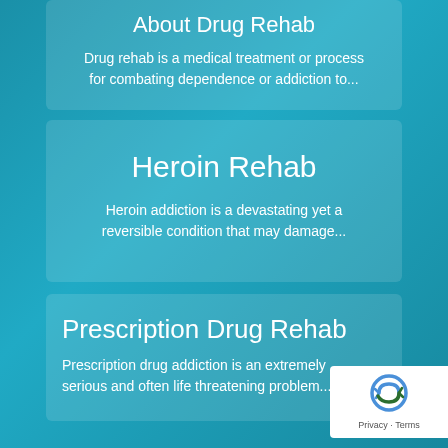About Drug Rehab
Drug rehab is a medical treatment or process for combating dependence or addiction to...
Heroin Rehab
Heroin addiction is a devastating yet a reversible condition that may damage...
Prescription Drug Rehab
Prescription drug addiction is an extremely serious and often life threatening problem...
[Figure (logo): reCAPTCHA badge with logo and Privacy/Terms links]